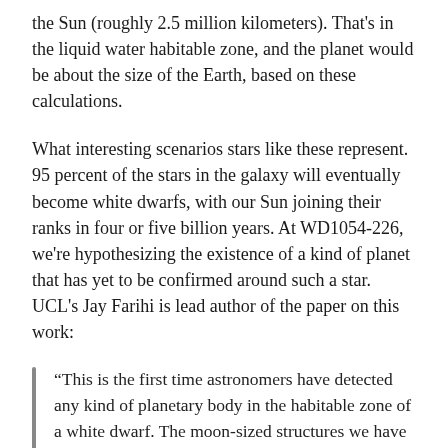the Sun (roughly 2.5 million kilometers). That's in the liquid water habitable zone, and the planet would be about the size of the Earth, based on these calculations.
What interesting scenarios stars like these represent. 95 percent of the stars in the galaxy will eventually become white dwarfs, with our Sun joining their ranks in four or five billion years. At WD1054-226, we're hypothesizing the existence of a kind of planet that has yet to be confirmed around such a star. UCL's Jay Farihi is lead author of the paper on this work:
“This is the first time astronomers have detected any kind of planetary body in the habitable zone of a white dwarf. The moon-sized structures we have observed are irregular and dusty (e.g. comet-like) rather than solid, spherical bodies. Their absolute regularity is a mystery we cannot currently explain. An exciting possibility is that these bodies are kept in such an evenly-spaced orbital pattern because of the